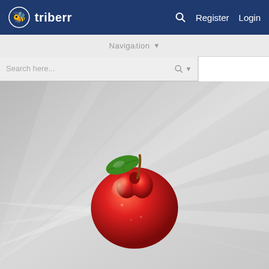[Figure (screenshot): Triberr website header with dark blue background, Triberr logo (bee icon) on left, and Register/Login links on right with search icon]
Navigation ▼
Search here...
[Figure (illustration): Website background with gray radial ray/beam pattern and a large red apple with green leaf and brown stem at the bottom center]